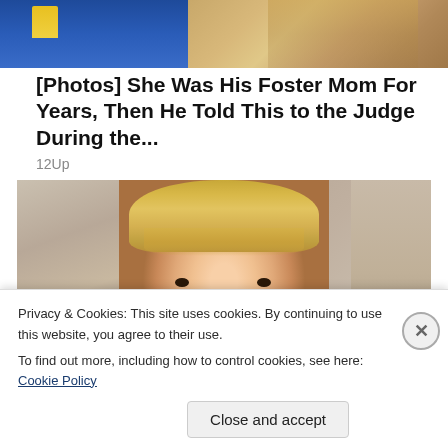[Figure (photo): Partial photo at top showing a person in blue uniform with a badge and blonde hair on the right side]
[Photos] She Was His Foster Mom For Years, Then He Told This to the Judge During the...
12Up
[Figure (photo): Close-up photo of a young blonde toddler girl with bangs, looking at the camera with a slightly open mouth, against a light stone/tile background]
Privacy & Cookies: This site uses cookies. By continuing to use this website, you agree to their use.
To find out more, including how to control cookies, see here: Cookie Policy
Close and accept